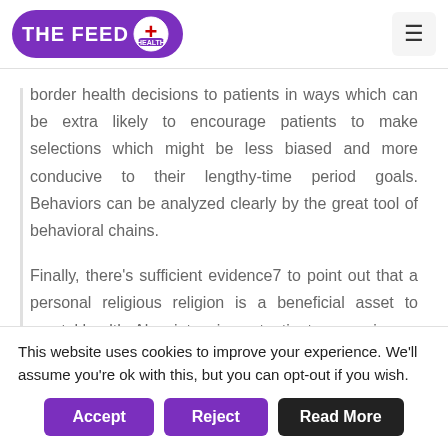THE FEED HEALTH
border health decisions to patients in ways which can be extra likely to encourage patients to make selections which might be less biased and more conducive to their lengthy-time period goals. Behaviors can be analyzed clearly by the great tool of behavioral chains.
Finally, there's sufficient evidence7 to point out that a personal religious religion is a beneficial asset to mental health. Also, intensive outpatient companies
This website uses cookies to improve your experience. We'll assume you're ok with this, but you can opt-out if you wish.